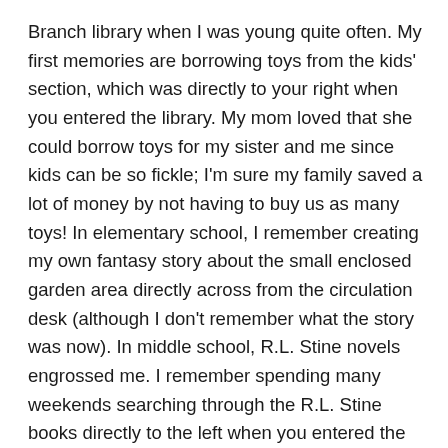Branch library when I was young quite often. My first memories are borrowing toys from the kids' section, which was directly to your right when you entered the library. My mom loved that she could borrow toys for my sister and me since kids can be so fickle; I'm sure my family saved a lot of money by not having to buy us as many toys! In elementary school, I remember creating my own fantasy story about the small enclosed garden area directly across from the circulation desk (although I don't remember what the story was now). In middle school, R.L. Stine novels engrossed me. I remember spending many weekends searching through the R.L. Stine books directly to the left when you entered the library, at the back. I also bought some of his books from the area to the left of the circulation desk at something like 25 or 50 cents per book. I loved that I had enough money to buy my own books! I